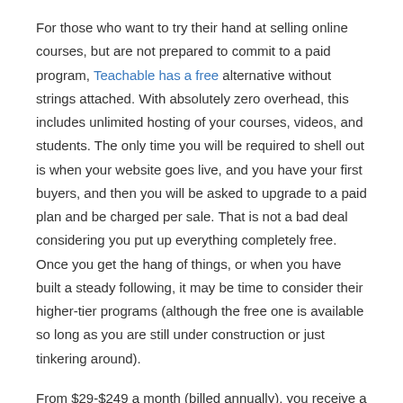For those who want to try their hand at selling online courses, but are not prepared to commit to a paid program, Teachable has a free alternative without strings attached. With absolutely zero overhead, this includes unlimited hosting of your courses, videos, and students. The only time you will be required to shell out is when your website goes live, and you have your first buyers, and then you will be asked to upgrade to a paid plan and be charged per sale. That is not a bad deal considering you put up everything completely free. Once you get the hang of things, or when you have built a steady following, it may be time to consider their higher-tier programs (although the free one is available so long as you are still under construction or just tinkering around).
From $29-$249 a month (billed annually), you receive a number of the more advanced features that give you more control over your content, and resources that can really maximize your sales and marketing. With the two top tiers, the prices are a flat rate, and the